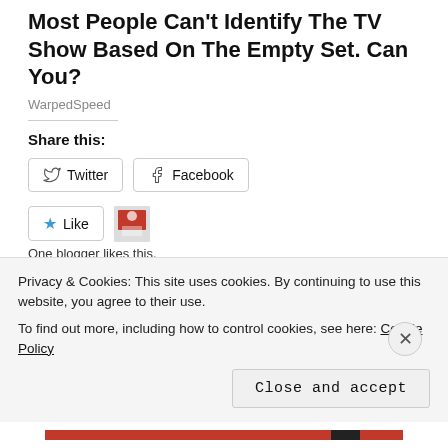Most People Can't Identify The TV Show Based On The Empty Set. Can You?
WarpedSpeed
Share this:
Twitter  Facebook
Like
One blogger likes this.
Related
Course Renovation 2014: Why?
April 26, 2011
Mole Cricket Application
January 11, 2019
Privacy & Cookies: This site uses cookies. By continuing to use this website, you agree to their use.
To find out more, including how to control cookies, see here: Cookie Policy
Close and accept